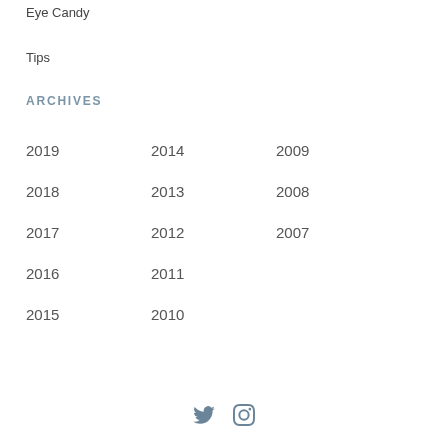Eye Candy
Tips
ARCHIVES
2019  2014  2009
2018  2013  2008
2017  2012  2007
2016  2011
2015  2010
[Figure (other): Twitter and Instagram social media icons]